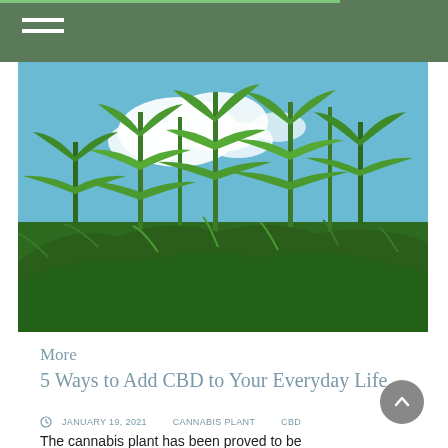Navigation bar with hamburger menu
[Figure (photo): Tall cannabis plants photographed from below against a blue sky with white clouds. The plants are lush green with characteristic fan leaves filling the frame.]
More
5 Ways to Add CBD to Your Everyday Life
JANUARY 19, 2021   CANNABIS PLANT   CBD
The cannabis plant has been proved to be